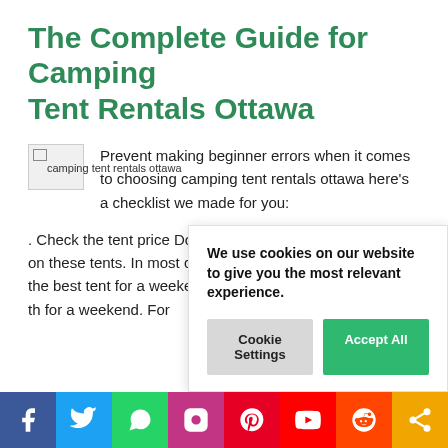The Complete Guide for Camping Tent Rentals Ottawa
[Figure (photo): Broken image placeholder for camping tent rentals ottawa]
Prevent making beginner errors when it comes to choosing camping tent rentals ottawa here's a checklist we made for you:
. Check the tent price Don't be fooled by the low price tag on these tents. In most cases, you will still pay more than the best tent for a weekend approximately % for a tent with th for a weekend. For
We use cookies on our website to give you the most relevant experience.
Cookie Settings  Accept All